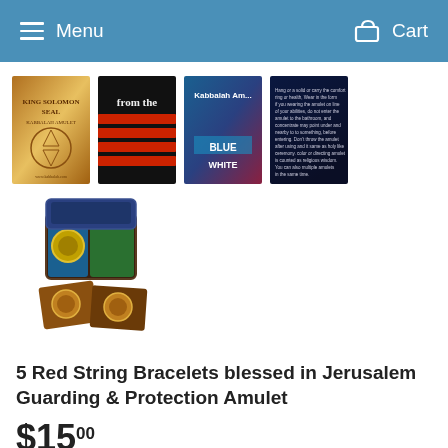Menu  Cart
[Figure (screenshot): Row of 5 product thumbnail images: King Solomon Seal book (gold), 'from the' red/black striped cover, Kabbalah Amulet Blue White book, dark blue text book, and a fifth product image of a wallet/cards set]
[Figure (photo): Product image: 5 Red String Bracelets set in box/wallet with cards]
5 Red String Bracelets blessed in Jerusalem Guarding & Protection Amulet
$15.00
Shipping calculated at checkout.
Quantity